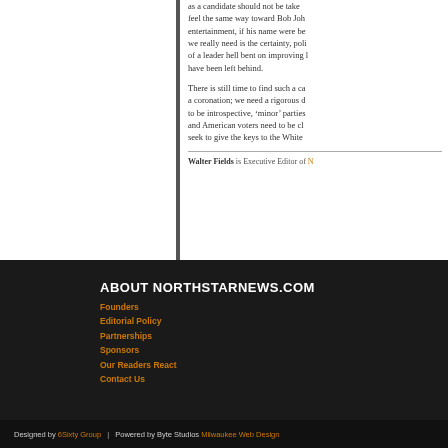as a candidate should not be taken... feel the same way toward Bob Joh... entertainment, if his name were be... we really need is the certainty, poli... of a leader hell bent on improving l... have been left behind.
There is still time to find such a ca... a coronation; we need a rigorous d... to be introspective, 'minor' parties ... and American voters need to be cl... seek to give the keys to the White ...
Walter Fields is Executive Director of N...
ABOUT NORTHSTARNEWS.COM
Founders
Editorial Policy
Partnerships
Sponsors
Our Readers React
Contact Us
Designed by 6Sixty Group | Powered by Byte Studios Milwaukee Web Design